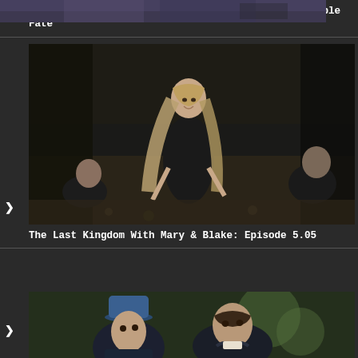[Figure (photo): Partially visible thumbnail from Bridgerton episode]
Bridgerton With Mary & Blake: 2.05 – “An Unthinkable Fate”
[Figure (photo): The Last Kingdom scene with a woman with long blonde hair kneeling outdoors among other figures]
The Last Kingdom With Mary & Blake: Episode 5.05
[Figure (photo): Partially visible thumbnail showing a man in a blue top hat and another man in a forest setting]